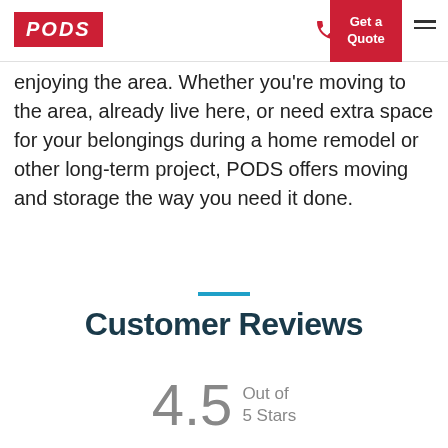PODS | Get a Quote
enjoying the area. Whether you're moving to the area, already live here, or need extra space for your belongings during a home remodel or other long-term project, PODS offers moving and storage the way you need it done.
Customer Reviews
4.5 Out of 5 Stars